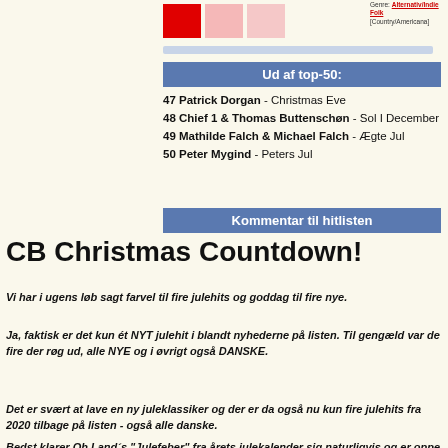Genre: Alternativ/Indie Folk [Country/Americana]
Ud af top-50:
47 Patrick Dorgan - Christmas Eve
48 Chief 1 & Thomas Buttenschøn - Sol I December
49 Mathilde Falch & Michael Falch - Ægte Jul
50 Peter Mygind - Peters Jul
Kommentar til hitlisten
CB Christmas Countdown!
Vi har i ugens løb sagt farvel til fire julehits og goddag til fire nye.
Ja, faktisk er det kun ét NYT julehit i blandt nyhederne på listen. Til gengæld var de fire der røg ud, alle NYE og i øvrigt også DANSKE.
Det er svært at lave en ny juleklassiker og der er da også nu kun fire julehits fra 2020 tilbage på listen - også alle danske.
Bedst klarer Oh Land´s "Julefeber" fra årets julekalender sig naturligvis og er oppe på 4. pladsen blandt de helt store